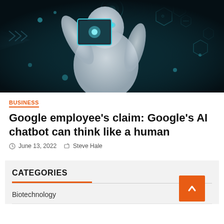[Figure (photo): A humanoid robot holding a glowing tablet with holographic hexagonal tech icons in a dark blue-green background]
BUSINESS
Google employee's claim: Google's AI chatbot can think like a human
June 13, 2022  Steve Hale
CATEGORIES
Biotechnology